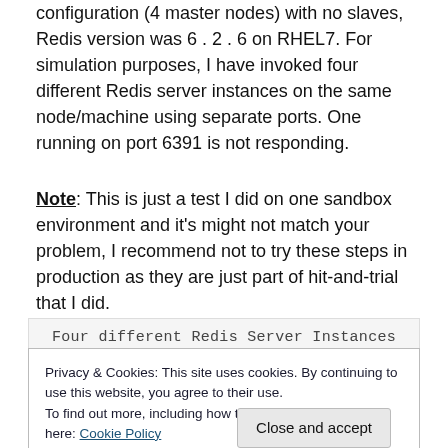configuration (4 master nodes) with no slaves, Redis version was 6 . 2 . 6 on RHEL7. For simulation purposes, I have invoked four different Redis server instances on the same node/machine using separate ports. One running on port 6391 is not responding.
Note: This is just a test I did on one sandbox environment and it's might not match your problem, I recommend not to try these steps in production as they are just part of hit-and-trial that I did.
[Figure (screenshot): Code/terminal screenshot showing 'Four different Redis Server Instances' heading and a row with: root  4001  31//  0  23:24  pts/1]
Privacy & Cookies: This site uses cookies. By continuing to use this website, you agree to their use.
To find out more, including how to control cookies, see here: Cookie Policy